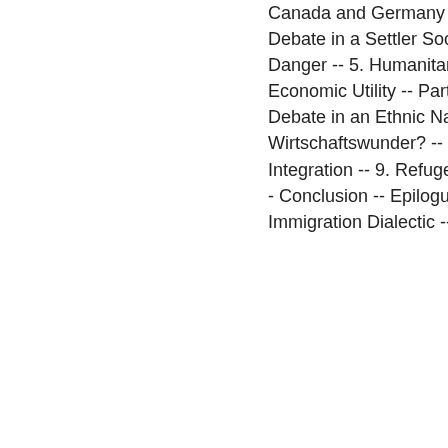Canada and Germany -- Part Two. Immigration Debate in a Settler Society -- 4. Immigration as Danger -- 5. Humanitarian Immigration -- 6. Economic Utility -- Part Three. Immigration Debate in an Ethnic Nation -- 7. A Nation of Wirtschaftswunder? -- 8. From Immigration to Integration -- 9. Refugees and Asylum Seekers -- Conclusion -- Epilogue: Towards a Critical Immigration Dialectic -- Appendix: